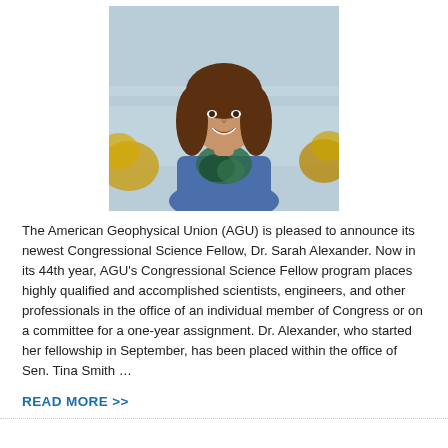[Figure (photo): Portrait photo of Dr. Sarah Alexander, a young woman with long brown hair wearing a blue top and a green patterned scarf, smiling outdoors near water with autumn foliage in the background.]
The American Geophysical Union (AGU) is pleased to announce its newest Congressional Science Fellow, Dr. Sarah Alexander. Now in its 44th year, AGU's Congressional Science Fellow program places highly qualified and accomplished scientists, engineers, and other professionals in the office of an individual member of Congress or on a committee for a one-year assignment. Dr. Alexander, who started her fellowship in September, has been placed within the office of Sen. Tina Smith …
READ MORE  >>